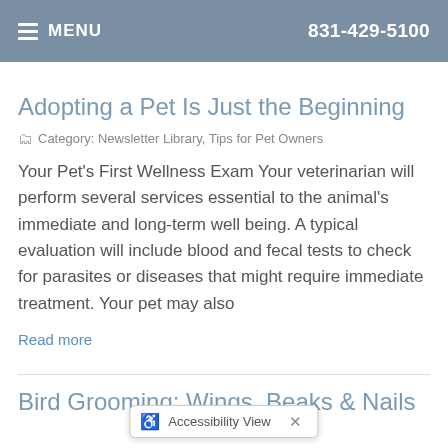MENU  831-429-5100
Adopting a Pet Is Just the Beginning
Category: Newsletter Library, Tips for Pet Owners
Your Pet's First Wellness Exam Your veterinarian will perform several services essential to the animal's immediate and long-term well being. A typical evaluation will include blood and fecal tests to check for parasites or diseases that might require immediate treatment. Your pet may also
Read more
Bird Grooming: Wings, Beaks & Nails